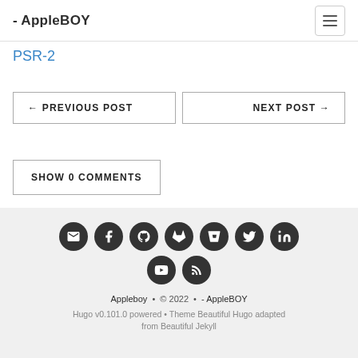- AppleBOY
PSR-2
← PREVIOUS POST
NEXT POST →
SHOW 0 COMMENTS
[Figure (infographic): Row of 7 social media icon circles (email, facebook, github, gitlab, bitbucket, twitter, linkedin) and a second row of 2 (youtube, rss), all dark gray circles with white icons]
Appleboy • © 2022 • - AppleBOY
Hugo v0.101.0 powered • Theme Beautiful Hugo adapted from Beautiful Jekyll